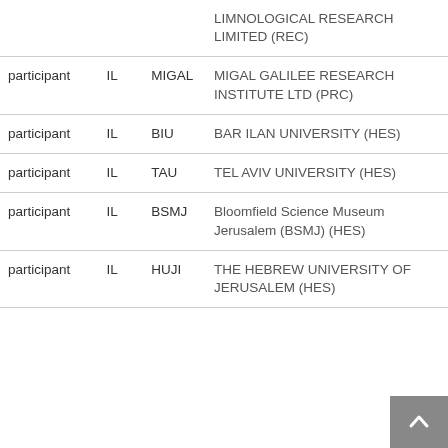| Role | Country | Short Name | Organisation |
| --- | --- | --- | --- |
|  |  |  | LIMNOLOGICAL RESEARCH LIMITED (REC) |
| participant | IL | MIGAL | MIGAL GALILEE RESEARCH INSTITUTE LTD (PRC) |
| participant | IL | BIU | BAR ILAN UNIVERSITY (HES) |
| participant | IL | TAU | TEL AVIV UNIVERSITY (HES) |
| participant | IL | BSMJ | Bloomfield Science Museum Jerusalem (BSMJ) (HES) |
| participant | IL | HUJI | THE HEBREW UNIVERSITY OF JERUSALEM (HES) |